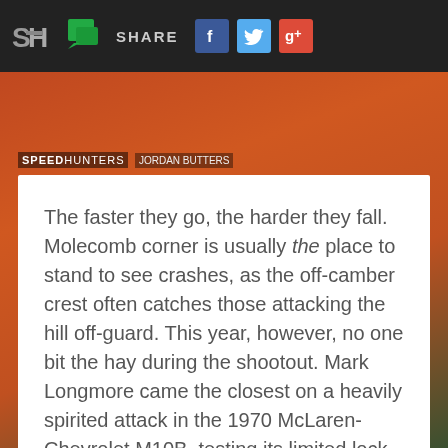SH | [chat icon] SHARE [Facebook] [Twitter] [Google+]
[Figure (photo): Speedhunters photo, cloudy sky background, SPEEDHUNTERS JORDAN BUTTERS watermark visible]
SPEEDHUNTERS JORDAN BUTTERS
The faster they go, the harder they fall. Molecomb corner is usually the place to stand to see crashes, as the off-camber crest often catches those attacking the hill off-guard. This year, however, no one bit the hay during the shootout. Mark Longmore came the closest on a heavily spirited attack in the 1970 McLaren-Chevrolet M10B, testing its limited lock to keep him out of the hay bales.